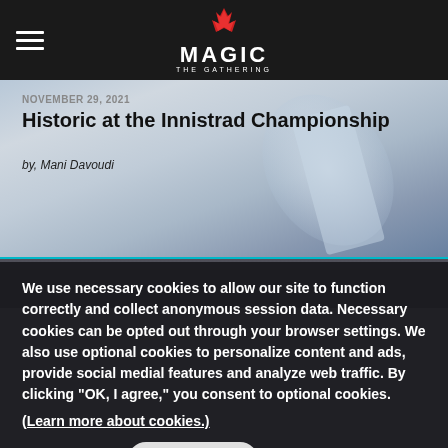Magic: The Gathering
Historic at the Innistrad Championship
NOVEMBER 29, 2021
by, Mani Davoudi
[Figure (illustration): Fantasy artwork — blurred card art with blues and silvers in upper hero area; dark gray/charcoal toned lower section below the teal divider line.]
We use necessary cookies to allow our site to function correctly and collect anonymous session data. Necessary cookies can be opted out through your browser settings. We also use optional cookies to personalize content and ads, provide social medial features and analyze web traffic. By clicking “OK, I agree,” you consent to optional cookies.
(Learn more about cookies.)